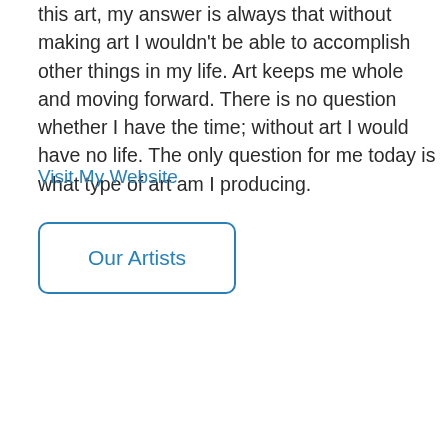this art, my answer is always that without making art I wouldn't be able to accomplish other things in my life. Art keeps me whole and moving forward. There is no question whether I have the time; without art I would have no life. The only question for me today is what type of art am I producing.
Visit My Website
Our Artists